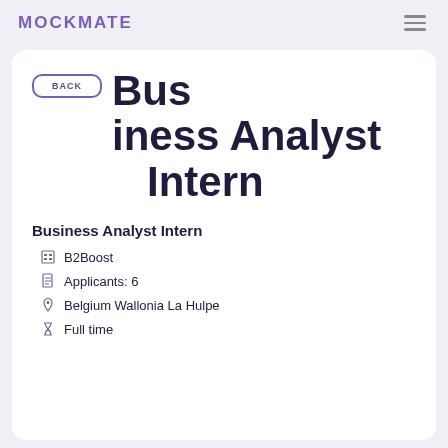MOCKMATE
Business Analyst Intern
Business Analyst Intern
B2Boost
Applicants: 6
Belgium Wallonia La Hulpe
Full time